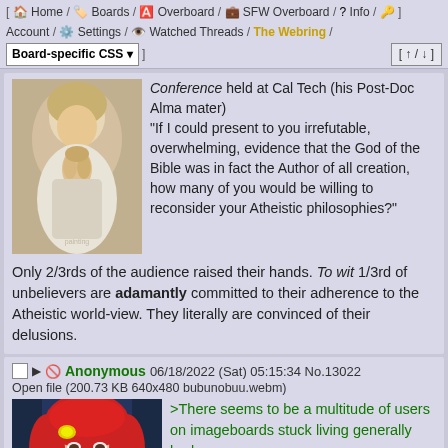[ Home / Boards / Overboard / SFW Overboard / Info / key ] Account / Settings / Watched Threads / The Webring / Board-specific CSS [up/down]
[Figure (photo): Painting of a person with hands clasped in prayer, head bowed]
Conference held at Cal Tech (his Post-Doc Alma mater) "If I could present to you irrefutable, overwhelming, evidence that the God of the Bible was in fact the Author of all creation, how many of you would be willing to reconsider your Atheistic philosophies?"
Only 2/3rds of the audience raised their hands. To wit 1/3rd of unbelievers are adamantly committed to their adherence to the Atheistic world-view. They literally are convinced of their delusions.
Anonymous 06/18/2022 (Sat) 05:15:34 No.13022
Open file (200.73 KB 640x480 bubunobuu.webm)
[Figure (screenshot): Anime girl with red hair and yellow hair clip]
>There seems to be a multitude of users on imageboards stuck living generally broken